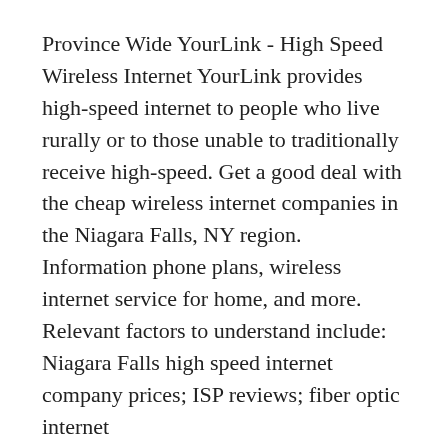Province Wide YourLink - High Speed Wireless Internet YourLink provides high-speed internet to people who live rurally or to those unable to traditionally receive high-speed. Get a good deal with the cheap wireless internet companies in the Niagara Falls, NY region. Information phone plans, wireless internet service for home, and more. Relevant factors to understand include: Niagara Falls high speed internet company prices; ISP reviews; fiber optic internet
NIAGARA TOUR COMPANY B&B in Niagara Falls located at 256 3rd Street. Save big with Reservations.com exclusive deals and discounts. Book online or call now. Find opening & closing hours for Niagara Wireless Internet Company